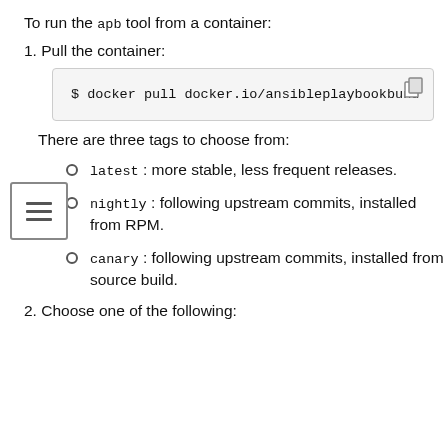To run the apb tool from a container:
1. Pull the container:
$ docker pull docker.io/ansibleplaybookbundl
There are three tags to choose from:
latest : more stable, less frequent releases.
nightly : following upstream commits, installed from RPM.
canary : following upstream commits, installed from source build.
2. Choose one of the following: